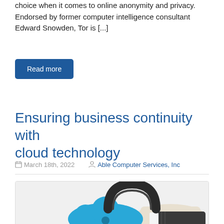choice when it comes to online anonymity and privacy. Endorsed by former computer intelligence consultant Edward Snowden, Tor is [...]
Read more
Ensuring business continuity with cloud technology
March 18th, 2022   Able Computer Services, Inc
[Figure (photo): Photo of a hand in a business suit holding a blue cloud-shaped padlock with a keyhole, representing cloud security and business continuity.]